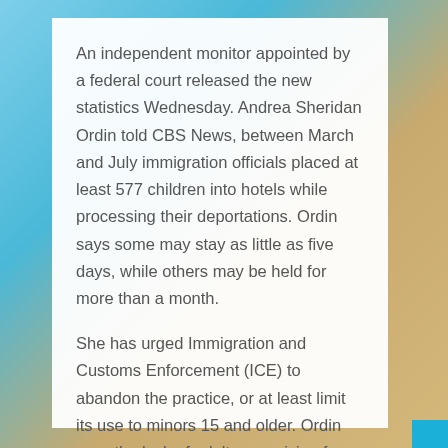An independent monitor appointed by a federal court released the new statistics Wednesday. Andrea Sheridan Ordin told CBS News, between March and July immigration officials placed at least 577 children into hotels while processing their deportations. Ordin says some may stay as little as five days, while others may be held for more than a month.
She has urged Immigration and Customs Enforcement (ICE) to abandon the practice, or at least limit its use to minors 15 and older. Ordin says the lack of adult supervision for much younger children concerns her.